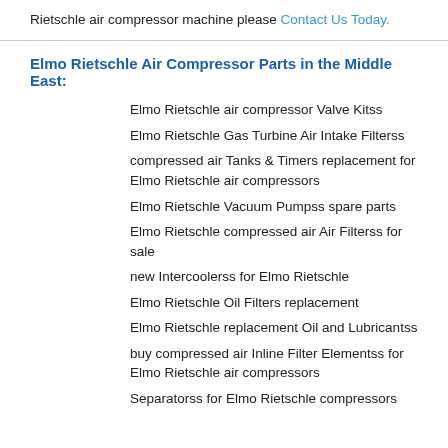Rietschle air compressor machine please Contact Us Today.
Elmo Rietschle Air Compressor Parts in the Middle East:
Elmo Rietschle air compressor Valve Kitss
Elmo Rietschle Gas Turbine Air Intake Filterss
compressed air Tanks & Timers replacement for Elmo Rietschle air compressors
Elmo Rietschle Vacuum Pumpss spare parts
Elmo Rietschle compressed air Air Filterss for sale
new Intercoolerss for Elmo Rietschle
Elmo Rietschle Oil Filters replacement
Elmo Rietschle replacement Oil and Lubricantss
buy compressed air Inline Filter Elementss for Elmo Rietschle air compressors
Separatorss for Elmo Rietschle compressors